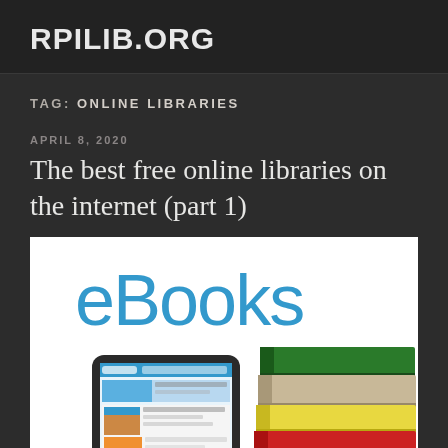RPILIB.ORG
TAG: ONLINE LIBRARIES
APRIL 8, 2020
The best free online libraries on the internet (part 1)
[Figure (illustration): eBooks illustration showing the word 'eBooks' in blue text above a tablet device displaying a webpage and a stack of physical books (green, tan, yellow, red covers) on a white background]